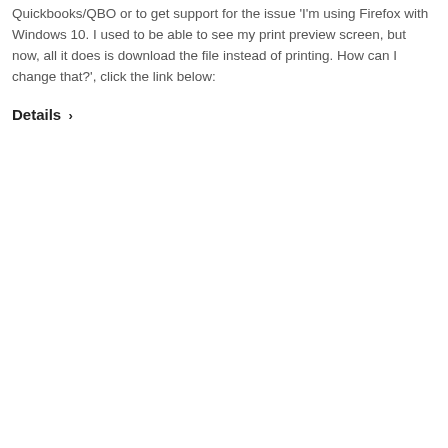Quickbooks/QBO or to get support for the issue 'I'm using Firefox with Windows 10. I used to be able to see my print preview screen, but now, all it does is download the file instead of printing. How can I change that?', click the link below:
Details ›